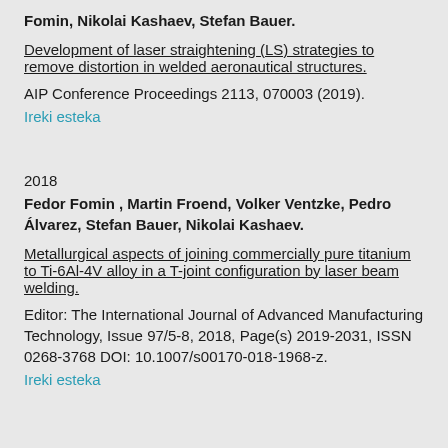Fomin, Nikolai Kashaev, Stefan Bauer.
Development of laser straightening (LS) strategies to remove distortion in welded aeronautical structures.
AIP Conference Proceedings 2113, 070003 (2019).
Ireki esteka
2018
Fedor Fomin , Martin Froend, Volker Ventzke, Pedro Álvarez, Stefan Bauer, Nikolai Kashaev.
Metallurgical aspects of joining commercially pure titanium to Ti-6Al-4V alloy in a T-joint configuration by laser beam welding.
Editor: The International Journal of Advanced Manufacturing Technology, Issue 97/5-8, 2018, Page(s) 2019-2031, ISSN 0268-3768 DOI: 10.1007/s00170-018-1968-z.
Ireki esteka